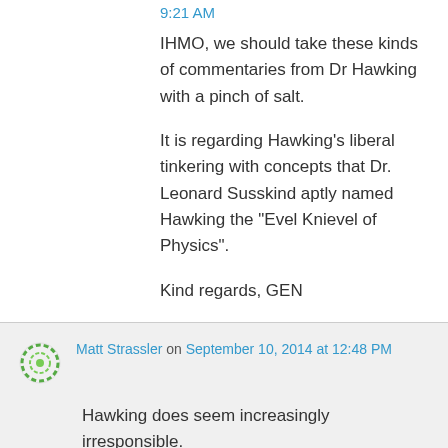9:21 AM
IHMO, we should take these kinds of commentaries from Dr Hawking with a pinch of salt.

It is regarding Hawking’s liberal tinkering with concepts that Dr. Leonard Susskind aptly named Hawking the “Evel Knievel of Physics”.

Kind regards, GEN
Matt Strassler on September 10, 2014 at 12:48 PM
Hawking does seem increasingly irresponsible.